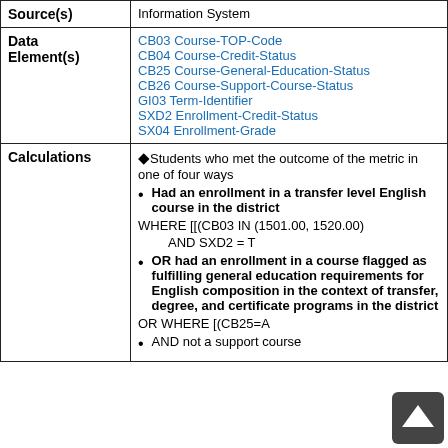| Source(s) | Information System |
| --- | --- |
| Data Element(s) | CB03 Course-TOP-Code
CB04 Course-Credit-Status
CB25 Course-General-Education-Status
CB26 Course-Support-Course-Status
GI03 Term-Identifier
SXD2 Enrollment-Credit-Status
SX04 Enrollment-Grade |
| Calculations | ◆Students who met the outcome of the metric in one of four ways
• Had an enrollment in a transfer level English course in the district
WHERE [[(CB03 IN (1501.00, 1520.00)
          AND SXD2 = T
• OR had an enrollment in a course flagged as fulfilling general education requirements for English composition in the context of transfer, degree, and certificate programs in the district
OR WHERE [(CB25=A
• AND not a support course |